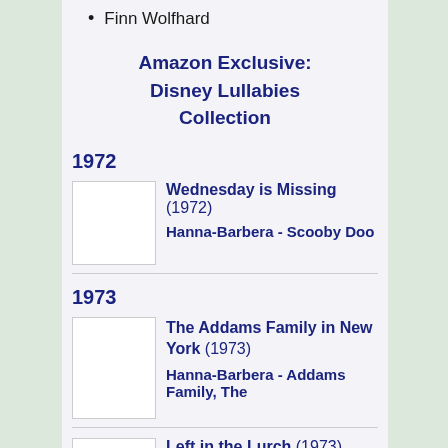Finn Wolfhard
Amazon Exclusive: Disney Lullabies Collection
1972
Wednesday is Missing (1972)
Hanna-Barbera - Scooby Doo
1973
The Addams Family in New York (1973)
Hanna-Barbera - Addams Family, The
Left in the Lurch (1973)
Hanna-Barbera - Addams Family,